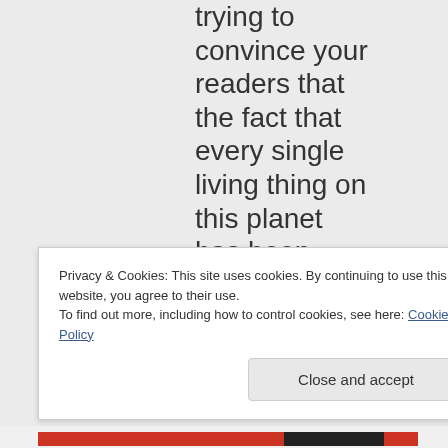trying to convince your readers that the fact that every single living thing on this planet has been genetically modified from its ancestral
Privacy & Cookies: This site uses cookies. By continuing to use this website, you agree to their use. To find out more, including how to control cookies, see here: Cookie Policy
Close and accept